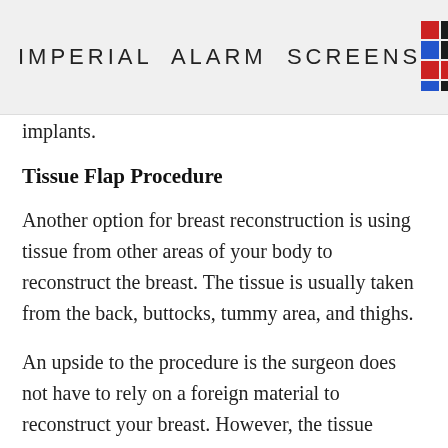IMPERIAL ALARM SCREENS
implants.
Tissue Flap Procedure
Another option for breast reconstruction is using tissue from other areas of your body to reconstruct the breast. The tissue is usually taken from the back, buttocks, tummy area, and thighs.
An upside to the procedure is the surgeon does not have to rely on a foreign material to reconstruct your breast. However, the tissue